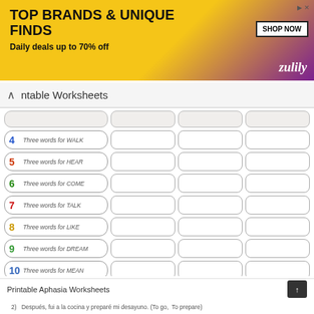[Figure (other): Zulily advertisement banner: TOP BRANDS & UNIQUE FINDS, Daily deals up to 70% off, SHOP NOW button]
ntable Worksheets
4 Three words for WALK [answer boxes]
5 Three words for HEAR [answer boxes]
6 Three words for COME [answer boxes]
7 Three words for TALK [answer boxes]
8 Three words for LIKE [answer boxes]
9 Three words for DREAM [answer boxes]
10 Three words for MEAN [answer boxes]
11 Three words for RUN [answer boxes]
Printable Aphasia Worksheets
2) Después, fui a la cocina y preparé mi desayuno. (To go, To prepare)